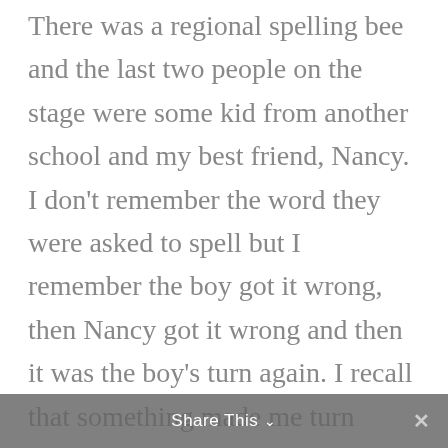There was a regional spelling bee and the last two people on the stage were some kid from another school and my best friend, Nancy. I don't remember the word they were asked to spell but I remember the boy got it wrong, then Nancy got it wrong and then it was the boy's turn again. I recall that something made me turn around, and I saw a lady mouthing the spelling of the word to the kid. He repeated what she said and won. I remember
Share This ×